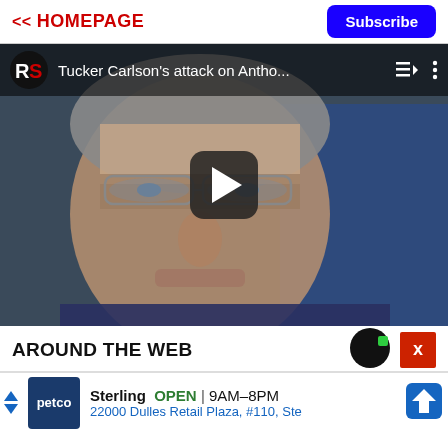<< HOMEPAGE
Subscribe
[Figure (screenshot): YouTube-style video thumbnail showing a close-up of a man with gray hair and glasses, with a dark overlay top bar showing an RS logo, the title 'Tucker Carlson's attack on Antho...', playlist and more icons, and a large play button in the center.]
AROUND THE WEB
[Figure (logo): Taboola logo - black circle with white C shape and green square]
x
Sterling   OPEN | 9AM–8PM
22000 Dulles Retail Plaza, #110, Ste